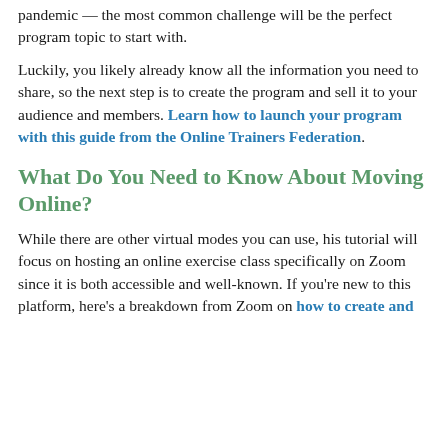pandemic — the most common challenge will be the perfect program topic to start with.
Luckily, you likely already know all the information you need to share, so the next step is to create the program and sell it to your audience and members. Learn how to launch your program with this guide from the Online Trainers Federation.
What Do You Need to Know About Moving Online?
While there are other virtual modes you can use, his tutorial will focus on hosting an online exercise class specifically on Zoom since it is both accessible and well-known. If you're new to this platform, here's a breakdown from Zoom on how to create and